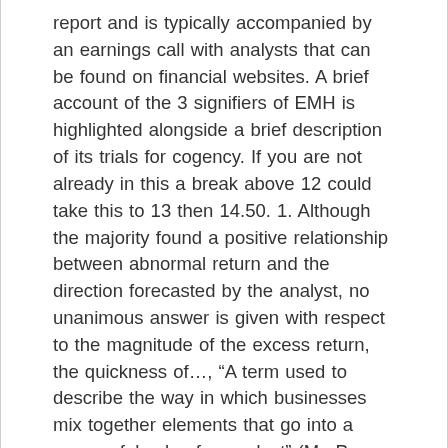report and is typically accompanied by an earnings call with analysts that can be found on financial websites. A brief account of the 3 signifiers of EMH is highlighted alongside a brief description of its trials for cogency. If you are not already in this a break above 12 could take this to 13 then 14.50. 1. Although the majority found a positive relationship between abnormal return and the direction forecasted by the analyst, no unanimous answer is given with respect to the magnitude of the excess return, the quickness of…, “A term used to describe the way in which businesses mix together elements that go into a successful sale of a product” (Mr. P. Neill) Market research helps a business to discover what consumers want or may want in the future. At Paperap.com you will find a wide variety of top-notch essay and term paper samples on any possible